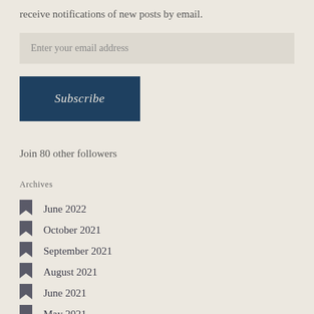receive notifications of new posts by email.
Enter your email address
Subscribe
Join 80 other followers
Archives
June 2022
October 2021
September 2021
August 2021
June 2021
May 2021